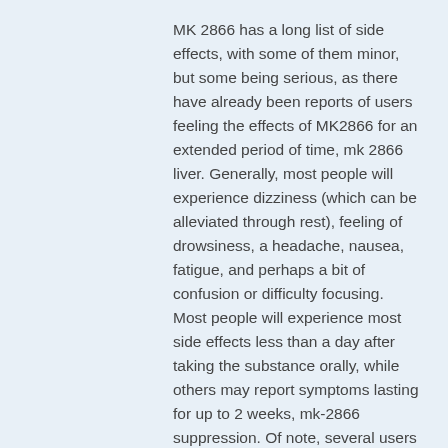MK 2866 has a long list of side effects, with some of them minor, but some being serious, as there have already been reports of users feeling the effects of MK2866 for an extended period of time, mk 2866 liver. Generally, most people will experience dizziness (which can be alleviated through rest), feeling of drowsiness, a headache, nausea, fatigue, and perhaps a bit of confusion or difficulty focusing. Most people will experience most side effects less than a day after taking the substance orally, while others may report symptoms lasting for up to 2 weeks, mk-2866 suppression. Of note, several users reported feeling some sort of depression shortly after taking the SARM, which seems similar to serotonin syndrome, mk-2866 suppression. You'll want to talk to your friends and go to a doctor if your symptoms develop that are different than the list. You are encouraged to seek medical